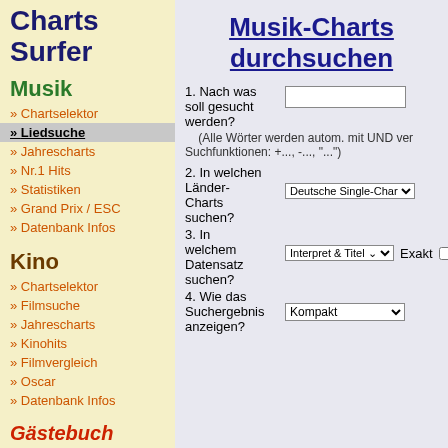Charts Surfer
Musik
» Chartselektor
» Liedsuche
» Jahrescharts
» Nr.1 Hits
» Statistiken
» Grand Prix / ESC
» Datenbank Infos
Kino
» Chartselektor
» Filmsuche
» Jahrescharts
» Kinohits
» Filmvergleich
» Oscar
» Datenbank Infos
Gästebuch
Musik-Charts durchsuchen
1. Nach was soll gesucht werden?
(Alle Wörter werden autom. mit UND ver Suchfunktionen: +..., -..., "...")
2. In welchen Länder-Charts suchen?
Deutsche Single-Charts ... ab 1
3. In welchem Datensatz suchen?
Interpret & Titel   Exakt
4. Wie das Suchergebnis anzeigen?
Kompakt